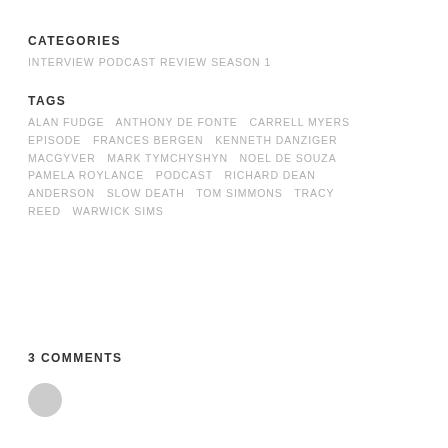CATEGORIES
INTERVIEW  PODCAST  REVIEW  SEASON 1
TAGS
ALAN FUDGE  ANTHONY DE FONTE  CARRELL MYERS  EPISODE  FRANCES BERGEN  KENNETH DANZIGER  MACGYVER  MARK TYMCHYSHYN  NOEL DE SOUZA  PAMELA ROYLANCE  PODCAST  RICHARD DEAN ANDERSON  SLOW DEATH  TOM SIMMONS  TRACY REED  WARWICK SIMS
3 COMMENTS